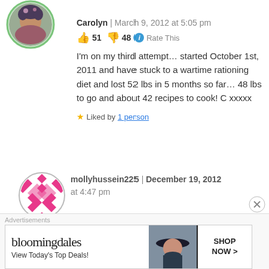[Figure (photo): Circular avatar photo of Carolyn, a woman with dark hair wearing a patterned top, with green circular border]
Carolyn | March 9, 2012 at 5:05 pm
👍 51 👎 48 ℹ Rate This
I'm on my third attempt... started October 1st, 2011 and have stuck to a wartime rationing diet and lost 52 lbs in 5 months so far... 48 lbs to go and about 42 recipes to cook! C xxxxx
★ Liked by 1 person
[Figure (illustration): Circular avatar with pink and white diamond/harlequin pattern on white background with gray border]
mollyhussein225 | December 19, 2012 at 4:47 pm
Advertisements
[Figure (screenshot): Bloomingdale's advertisement banner: 'bloomingdales View Today's Top Deals!' with image of woman in hat and SHOP NOW > button]